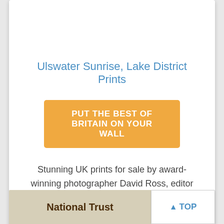Ulswater Sunrise, Lake District Prints
PUT THE BEST OF BRITAIN ON YOUR WALL
Stunning UK prints for sale by award-winning photographer David Ross, editor of Britain Express, the UK Travel and Heritage Guide.
National Trust
TOP